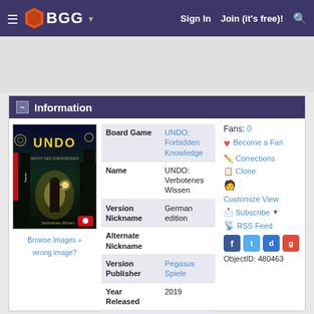BGG — Sign In  Join (it's free)!
Information
[Figure (illustration): UNDO: Forbidden Knowledge / Verbotenes Wissen board game box cover art — dark fantasy illustration with glowing figure]
Browse Images » wrong image?
| Field | Value |
| --- | --- |
| Board Game | UNDO: Forbidden Knowledge |
| Name | UNDO: Verbotenes Wissen |
| Version Nickname | German edition |
| Alternate Nickname |  |
| Version Publisher | Pegasus Spiele |
| Year Released | 2019 |
| Product Code | 18175g |
Fans: 0
Become a Fan
Corrections
Clone
Customize View
Subscribe
RSS Feed
ObjectID: 480463